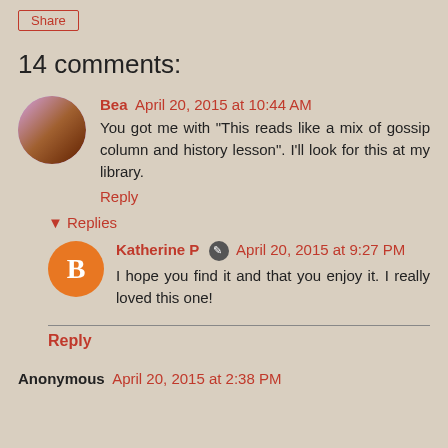Share
14 comments:
Bea April 20, 2015 at 10:44 AM
You got me with "This reads like a mix of gossip column and history lesson". I'll look for this at my library.
Reply
▼ Replies
Katherine P  April 20, 2015 at 9:27 PM
I hope you find it and that you enjoy it. I really loved this one!
Reply
Anonymous April 20, 2015 at 2:38 PM